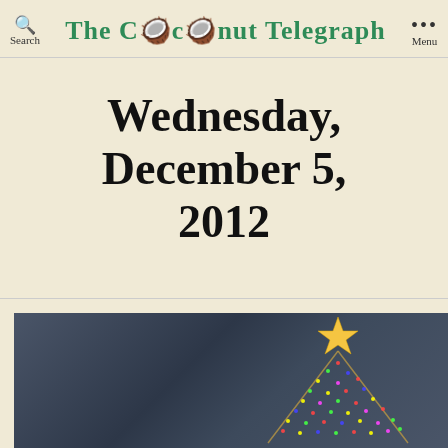Search | The Coconut Telegraph | Menu
Wednesday, December 5, 2012
[Figure (photo): Photograph of an illuminated Christmas tree with a gold star on top, decorated with colorful lights, against a dark grey background. Only the upper right portion of the tree is visible.]